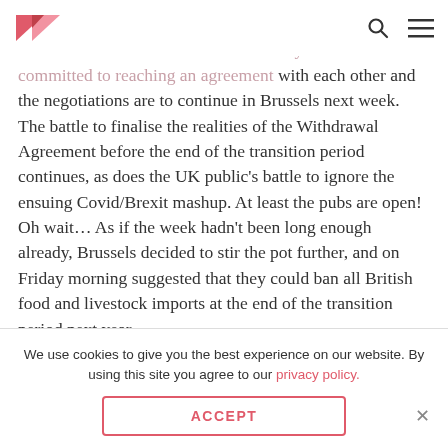[Logo] [Search icon] [Menu icon]
Chief Brexit Negotiators, Lord Frost and Michel Barnier, both released statements which said they were both committed to reaching an agreement with each other and the negotiations are to continue in Brussels next week. The battle to finalise the realities of the Withdrawal Agreement before the end of the transition period continues, as does the UK public's battle to ignore the ensuing Covid/Brexit mashup. At least the pubs are open! Oh wait… As if the week hadn't been long enough already, Brussels decided to stir the pot further, and on Friday morning suggested that they could ban all British food and livestock imports at the end of the transition period next year.
We use cookies to give you the best experience on our website. By using this site you agree to our privacy policy.
ACCEPT